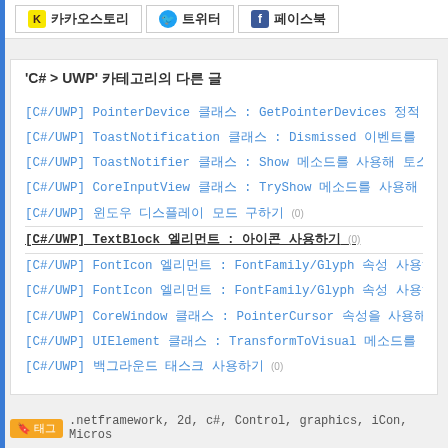카카오스토리  트위터  페이스북
'C# > UWP' 카테고리의 다른 글
[C#/UWP] PointerDevice 클래스 : GetPointerDevices 정적 메소
[C#/UWP] ToastNotification 클래스 : Dismissed 이벤트를 사용
[C#/UWP] ToastNotifier 클래스 : Show 메소드를 사용해 토스트
[C#/UWP] CoreInputView 클래스 : TryShow 메소드를 사용해 이도
[C#/UWP] 윈도우 디스플레이 모드 구하기 (0)
[C#/UWP] TextBlock 엘리먼트 : 아이콘 사용하기 (0)
[C#/UWP] FontIcon 엘리먼트 : FontFamily/Glyph 속성 사용하기
[C#/UWP] FontIcon 엘리먼트 : FontFamily/Glyph 속성 사용하기
[C#/UWP] CoreWindow 클래스 : PointerCursor 속성을 사용해 마
[C#/UWP] UIElement 클래스 : TransformToVisual 메소드를 사용
[C#/UWP] 백그라운드 태스크 사용하기 (0)
태그 .netframework, 2d, c#, Control, graphics, iCon, Micros